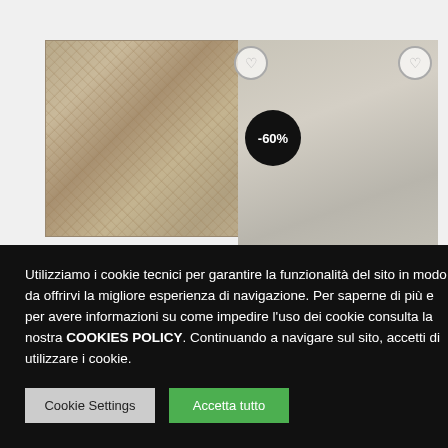[Figure (screenshot): E-commerce product page showing rugs/carpets with a cookie consent overlay. Two rugs visible: a patterned beige/grey rug on the left and a plain light grey rug on the right with a -60% discount badge. Product info shows 'Nepal Design', '0x250cm', price '3,040.00€'. Cookie consent dialog overlays the bottom half with Italian text and two buttons: 'Cookie Settings' and 'Accetta tutto'. A reCAPTCHA widget is visible bottom right.]
Utilizziamo i cookie tecnici per garantire la funzionalità del sito in modo da offrirvi la migliore esperienza di navigazione. Per saperne di più e per avere informazioni su come impedire l'uso dei cookie consulta la nostra COOKIES POLICY. Continuando a navigare sul sito, accetti di utilizzare i cookie.